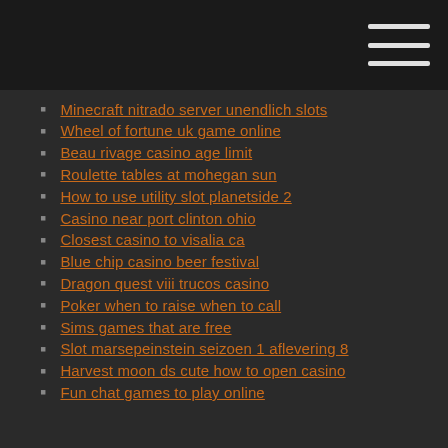Minecraft nitrado server unendlich slots
Wheel of fortune uk game online
Beau rivage casino age limit
Roulette tables at mohegan sun
How to use utility slot planetside 2
Casino near port clinton ohio
Closest casino to visalia ca
Blue chip casino beer festival
Dragon quest viii trucos casino
Poker when to raise when to call
Sims games that are free
Slot marsepeinstein seizoen 1 aflevering 8
Harvest moon ds cute how to open casino
Fun chat games to play online